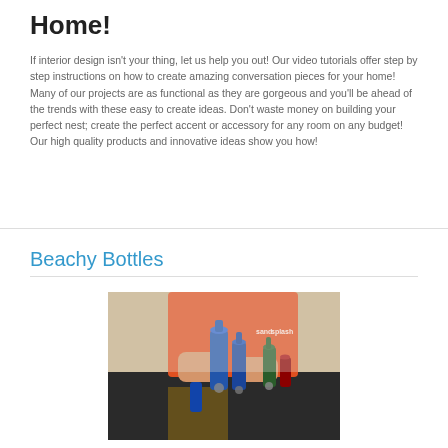Home!
If interior design isn't your thing, let us help you out! Our video tutorials offer step by step instructions on how to create amazing conversation pieces for your home! Many of our projects are as functional as they are gorgeous and you'll be ahead of the trends with these easy to create ideas. Don't waste money on building your perfect nest; create the perfect accent or accessory for any room on any budget! Our high quality products and innovative ideas show you how!
Beachy Bottles
[Figure (photo): A person in an orange shirt arranging blue and dark colored glass bottles on a dark surface. A watermark reading 'sand splash' is visible in the upper right area of the image.]